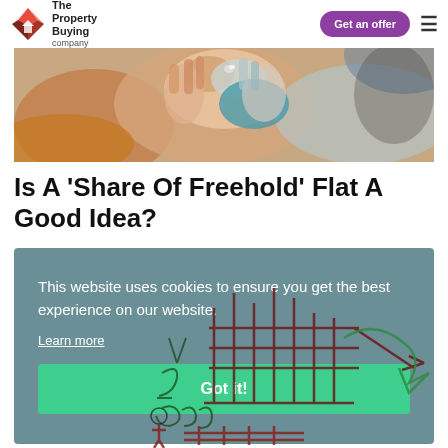The Property Buying Company | Get an offer
[Figure (photo): Close-up photo of multiple hands clasped together, people of different ages, warm and cold tones clothing]
Is A 'Share Of Freehold' Flat A Good Idea?
This website uses cookies to ensure you get the best experience on our website.
Learn more
Got it!